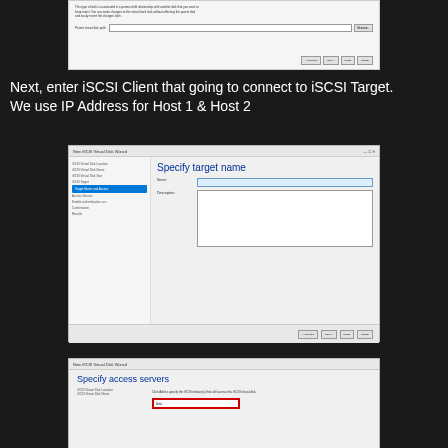[Figure (screenshot): Windows iSCSI Virtual Disk Wizard screenshot showing parent virtual disk path field with Browse button and navigation buttons (Previous, Next, Cancel, Finish)]
Next, enter iSCSI Client that going to connect to iSCSI Target.
We use IP Address for Host 1 & Host 2
[Figure (screenshot): New iSCSI Virtual Disk Wizard window showing 'Specify target name' step with left sidebar listing steps (iSCSI Virtual Disk Location, iSCSI Virtual Disk Name, iSCSI Virtual Disk Size, iSCSI Target, Target Name and Access, Access Servers, etc.), Name field with text input, and Description textarea. Target Name and Access is highlighted in blue.]
[Figure (screenshot): New iSCSI Virtual Disk Wizard window showing 'Specify access servers' step with left sidebar listing iSCSI Virtual Disk Location and iSCSI Virtual Disk Name steps, instruction text 'Click Add to specify the iSCSI initiator(s) that will access this iSCSI virtual disk.', and an Add button box highlighted with red border.]